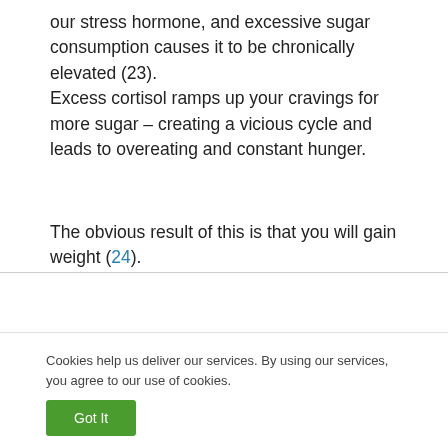our stress hormone, and excessive sugar consumption causes it to be chronically elevated (23). Excess cortisol ramps up your cravings for more sugar – creating a vicious cycle and leads to overeating and constant hunger.
The obvious result of this is that you will gain weight (24).
Plus, cortisol causes your body to actually break down your muscle tissue for energy
Cookies help us deliver our services. By using our services, you agree to our use of cookies.
Got It